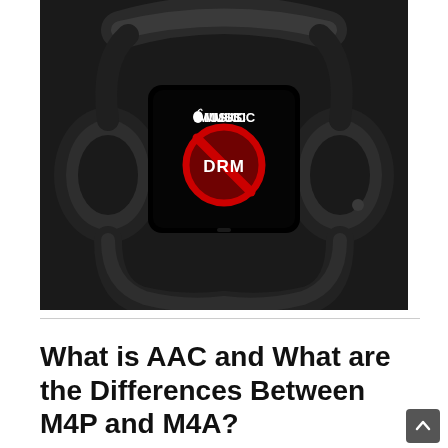[Figure (photo): Black and white photo of headphones holding a smartphone displaying Apple Music logo with a red 'no DRM' symbol (circle with slash over text 'DRM') on a black screen]
What is AAC and What are the Differences Between M4P and M4A?